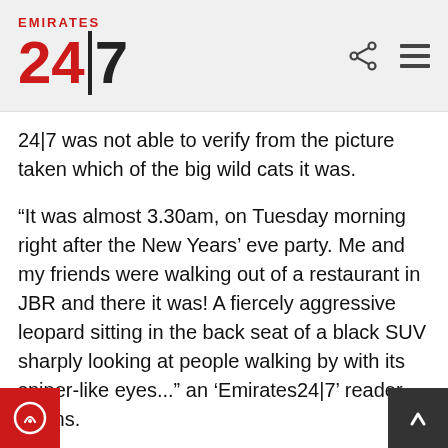Emirates 24|7 — logo header with share and menu icons
24|7 was not able to verify from the picture taken which of the big wild cats it was.
“It was almost 3.30am, on Tuesday morning right after the New Years’ eve party. Me and my friends were walking out of a restaurant in JBR and there it was! A fiercely aggressive leopard sitting in the back seat of a black SUV sharply looking at people walking by with its sniper-like eyes...” an ‘Emirates24|7’ reader claims.
“No one noticed at first but when I grabbed my phone to take a picture, luckily I realised the auto-